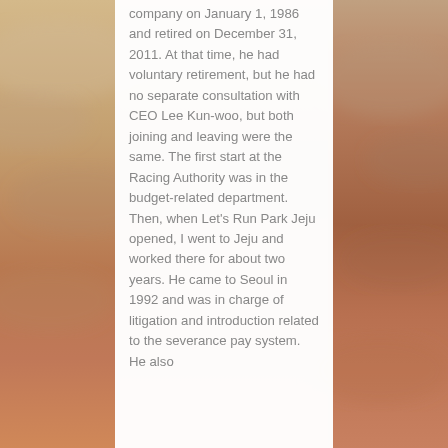company on January 1, 1986 and retired on December 31, 2011. At that time, he had voluntary retirement, but he had no separate consultation with CEO Lee Kun-woo, but both joining and leaving were the same. The first start at the Racing Authority was in the budget-related department. Then, when Let's Run Park Jeju opened, I went to Jeju and worked there for about two years. He came to Seoul in 1992 and was in charge of litigation and introduction related to the severance pay system. He also